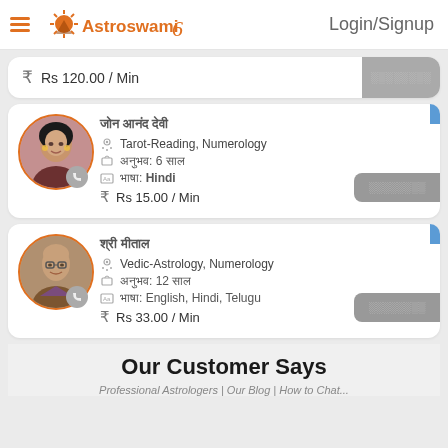Astroswami | Login/Signup
Rs 120.00 / Min
[Figure (photo): Female astrologer profile photo, circular avatar with orange border]
Tarot-Reading, Numerology
Experience: 6 Years
Language: Hindi
Rs 15.00 / Min
[Figure (photo): Male astrologer profile photo, circular avatar with orange border]
Vedic-Astrology, Numerology
Experience: 12 Years
Language: English, Hindi, Telugu
Rs 33.00 / Min
Our Customer Says
Professional Astrologers | Our Blog | How to Chat...